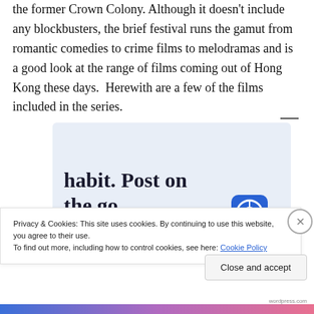the former Crown Colony. Although it doesn't include any blockbusters, the brief festival runs the gamut from romantic comedies to crime films to melodramas and is a good look at the range of films coming out of Hong Kong these days.  Herewith are a few of the films included in the series.
[Figure (screenshot): Advertisement banner with light blue background showing text 'habit. Post on the go.' with 'GET THE APP' call to action in blue and WordPress logo icon]
Privacy & Cookies: This site uses cookies. By continuing to use this website, you agree to their use.
To find out more, including how to control cookies, see here: Cookie Policy
Close and accept